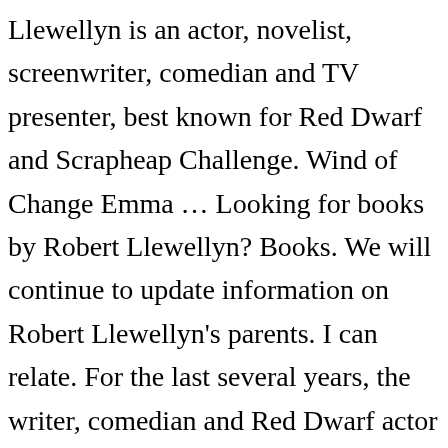Llewellyn is an actor, novelist, screenwriter, comedian and TV presenter, best known for Red Dwarf and Scrapheap Challenge. Wind of Change Emma … Looking for books by Robert Llewellyn? Books. We will continue to update information on Robert Llewellyn's parents. I can relate. For the last several years, the writer, comedian and Red Dwarf actor Robert Llewellyn has been gathering notes, old diaries, pictures and ideas for a lighthearted but occasionally philosophical book on his life. Robert, I've enjoyed reading your books, and afterwards using them as